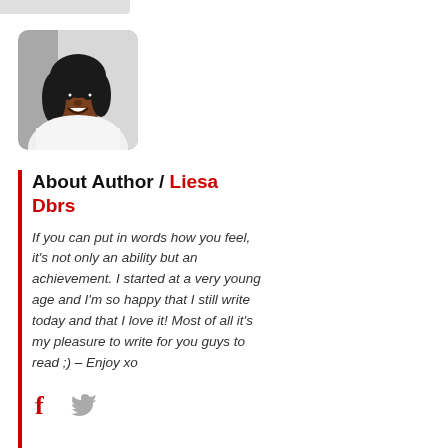[Figure (photo): Author photo of Liesa Dbrs, a smiling woman with long dark hair wearing a white turtleneck sweater, rounded square crop]
About Author / Liesa Dbrs
If you can put in words how you feel, it's not only an ability but an achievement. I started at a very young age and I'm so happy that I still write today and that I love it! Most of all it's my pleasure to write for you guys to read ;) – Enjoy xo
[Figure (illustration): Social media icons: red Facebook 'f' icon and grey Twitter bird icon]